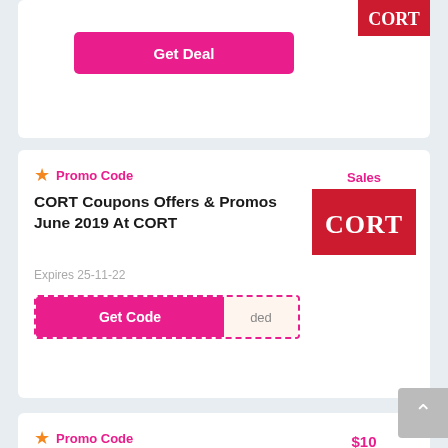[Figure (screenshot): Partial top coupon card with Get Deal button and CORT logo]
Promo Code
CORT Coupons Offers & Promos June 2019 At CORT
Expires 25-11-22
Get Code  ded
[Figure (logo): CORT red logo with Sales label]
Promo Code
Get $10 Off On Mini Design Package At Havenly
Expires 25-11-22
Get Code  T10
[Figure (logo): CORT red logo with $10 label]